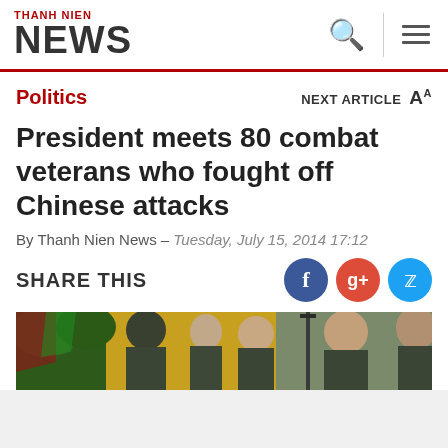THANH NIEN NEWS
Politics
NEXT ARTICLE A
President meets 80 combat veterans who fought off Chinese attacks
By Thanh Nien News – Tuesday, July 15, 2014 17:12
SHARE THIS
[Figure (photo): Group photo of military veterans in green uniforms gathered outdoors near a yellow building]